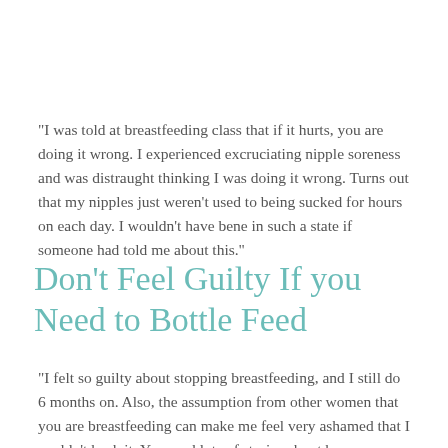"I was told at breastfeeding class that if it hurts, you are doing it wrong. I experienced excruciating nipple soreness and was distraught thinking I was doing it wrong. Turns out that my nipples just weren't used to being sucked for hours on each day. I wouldn't have bene in such a state if someone had told me about this."
Don't Feel Guilty If you Need to Bottle Feed
"I felt so guilty about stopping breastfeeding, and I still do 6 months on. Also, the assumption from other women that you are breastfeeding can make me feel very ashamed that I couldn't hack it. You read lots of stories about how wonderful it is but you don't hear much about how hard it is"